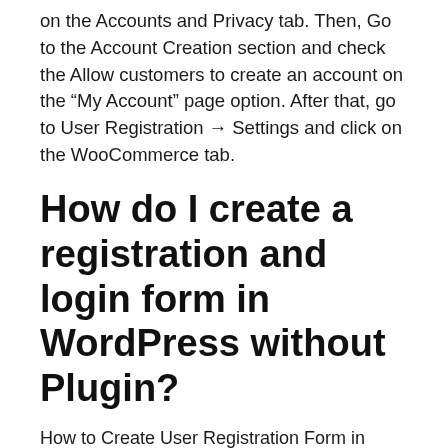on the Accounts and Privacy tab. Then, Go to the Account Creation section and check the Allow customers to create an account on the “My Account” page option. After that, go to User Registration → Settings and click on the WooCommerce tab.
How do I create a registration and login form in WordPress without Plugin?
How to Create User Registration Form in WordPress without Plugin?
Allow Users to Register with a Front-end Form. The first thing you need to